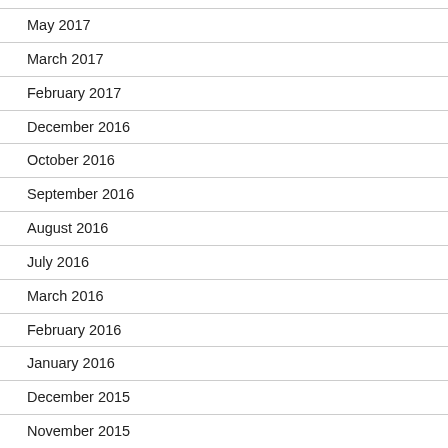May 2017
March 2017
February 2017
December 2016
October 2016
September 2016
August 2016
July 2016
March 2016
February 2016
January 2016
December 2015
November 2015